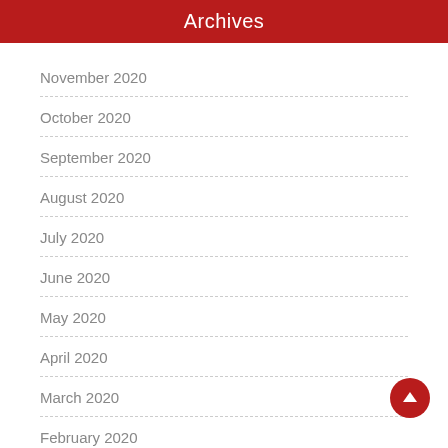Archives
November 2020
October 2020
September 2020
August 2020
July 2020
June 2020
May 2020
April 2020
March 2020
February 2020